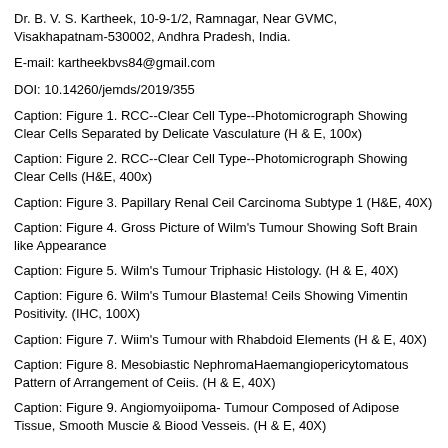Dr. B. V. S. Kartheek, 10-9-1/2, Ramnagar, Near GVMC, Visakhapatnam-530002, Andhra Pradesh, India.
E-mail: kartheekbvs84@gmail.com
DOI: 10.14260/jemds/2019/355
Caption: Figure 1. RCC--Clear Cell Type--Photomicrograph Showing Clear Cells Separated by Delicate Vasculature (H & E, 100x)
Caption: Figure 2. RCC--Clear Cell Type--Photomicrograph Showing Clear Cells (H&E, 400x)
Caption: Figure 3. Papillary Renal Ceil Carcinoma Subtype 1 (H&E, 40X)
Caption: Figure 4. Gross Picture of Wilm's Tumour Showing Soft Brain like Appearance
Caption: Figure 5. Wilm's Tumour Triphasic Histology. (H & E, 40X)
Caption: Figure 6. Wilm's Tumour Blastema! Ceils Showing Vimentin Positivity. (IHC, 100X)
Caption: Figure 7. Wiim's Tumour with Rhabdoid Elements (H & E, 40X)
Caption: Figure 8. Mesobiastic NephromaHaemangiopericytomatous Pattern of Arrangement of Ceiis. (H & E, 40X)
Caption: Figure 9. Angiomyoiipoma- Tumour Composed of Adipose Tissue, Smooth Muscie & Biood Vesseis. (H & E, 40X)